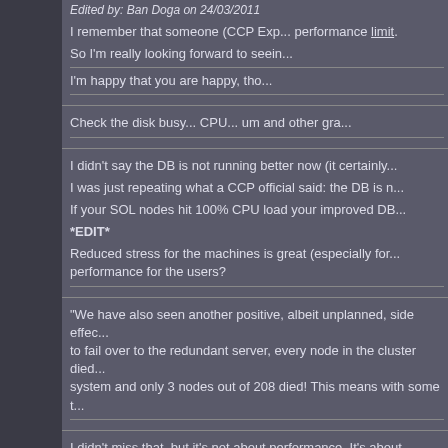Edited by: Ban Doga on 24/03/2011
I remember that someone (CCP Exp... performance limit.
So I'm really looking forward to seein...

I'm happy that you are happy, tho...
Check the disk busy... CPU... um and other gra...
I didn't say the DB is not running better now (it certainly...
I was just repeating what a CCP official said: the DB is n...

If your SOL nodes hit 100% CPU load your improved DB...

*EDIT*
Reduced stress for the machines is great (especially for...
performance for the users?
"We have also seen another positive, albeit unplanned, side effec...
to fail over to the redundant server, every node in the cluster died...
system and only 3 nodes out of 208 died! This means with some t...
I didn't miss that, but it's not about performance. It's about stability.
You don't get dropped, but you're not getting improved performance w...